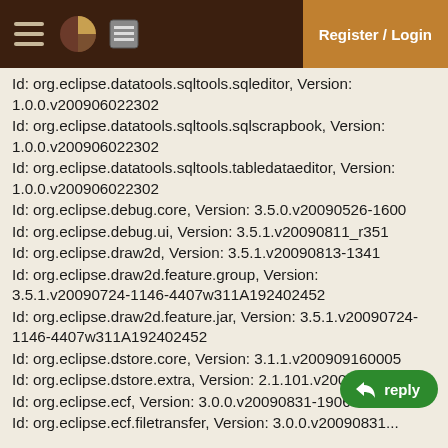Register / Login
Id: org.eclipse.datatools.sqltools.sqleditor, Version: 1.0.0.v200906022302
Id: org.eclipse.datatools.sqltools.sqlscrapbook, Version: 1.0.0.v200906022302
Id: org.eclipse.datatools.sqltools.tabledataeditor, Version: 1.0.0.v200906022302
Id: org.eclipse.debug.core, Version: 3.5.0.v20090526-1600
Id: org.eclipse.debug.ui, Version: 3.5.1.v20090811_r351
Id: org.eclipse.draw2d, Version: 3.5.1.v20090813-1341
Id: org.eclipse.draw2d.feature.group, Version: 3.5.1.v20090724-1146-4407w311A192402452
Id: org.eclipse.draw2d.feature.jar, Version: 3.5.1.v20090724-1146-4407w311A192402452
Id: org.eclipse.dstore.core, Version: 3.1.1.v200909160005
Id: org.eclipse.dstore.extra, Version: 2.1.101.v200907301400
Id: org.eclipse.ecf, Version: 3.0.0.v20090831-1906
Id: org.eclipse.ecf.filetransfer, Version: 3.0.0.v20090831